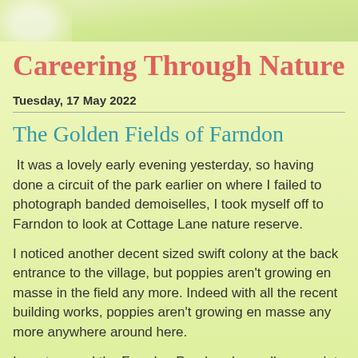[Figure (illustration): Light green decorative banner/header strip at the top of the blog page]
Careering Through Nature
Tuesday, 17 May 2022
The Golden Fields of Farndon
It was a lovely early evening yesterday, so having done a circuit of the park earlier on where I failed to photograph banded demoiselles, I took myself off to Farndon to look at Cottage Lane nature reserve.
I noticed another decent sized swift colony at the back entrance to the village, but poppies aren't growing en masse in the field any more. Indeed with all the recent building works, poppies aren't growing en masse any more anywhere around here.
I went around the Farndon Ponds, where all was quiet on the